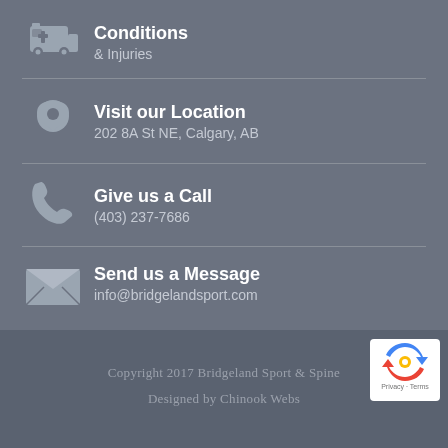Conditions & Injuries
Visit our Location
202 8A St NE, Calgary, AB
Give us a Call
(403) 237-7686
Send us a Message
info@bridgelandsport.com
Copyright 2017 Bridgeland Sport & Spine
Designed by Chinook Webs